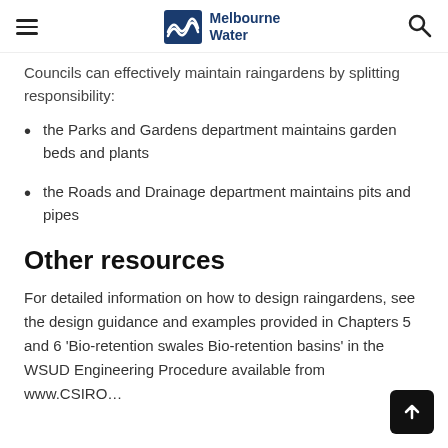Melbourne Water
Councils can effectively maintain raingardens by splitting responsibility:
the Parks and Gardens department maintains garden beds and plants
the Roads and Drainage department maintains pits and pipes
Other resources
For detailed information on how to design raingardens, see the design guidance and examples provided in Chapters 5 and 6 'Bio-retention swales Bio-retention basins' in the WSUD Engineering Procedure available from www.CSIRO…